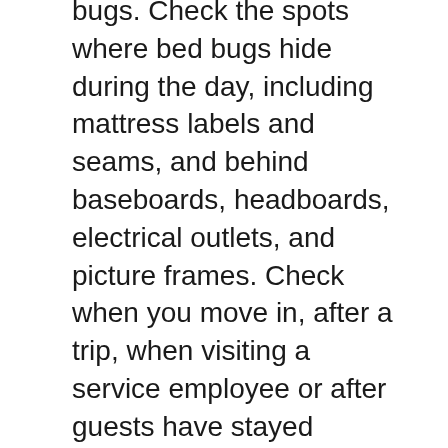bugs. Check the spots where bed bugs hide during the day, including mattress labels and seams, and behind baseboards, headboards, electrical outlets, and picture frames. Check when you move in, after a trip, when visiting a service employee or after guests have stayed overnight.
Reduce the clutter in your home so that it is easier for you to spot bed bugs yourself or during professional inspections.
Examine all used furniture before bringing it into your home.
While traveling, keep the acronym SLEEP in mind to check for bed bugs: